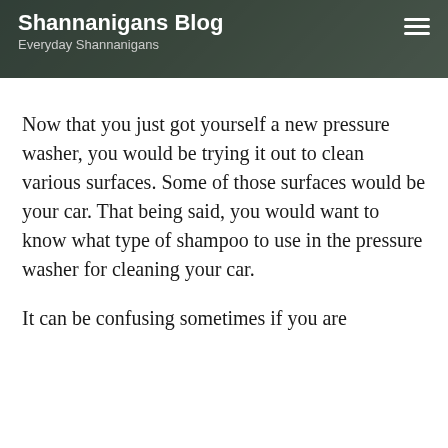Shannanigans Blog
Everyday Shannanigans
Now that you just got yourself a new pressure washer, you would be trying it out to clean various surfaces. Some of those surfaces would be your car. That being said, you would want to know what type of shampoo to use in the pressure washer for cleaning your car.
It can be confusing sometimes if you are